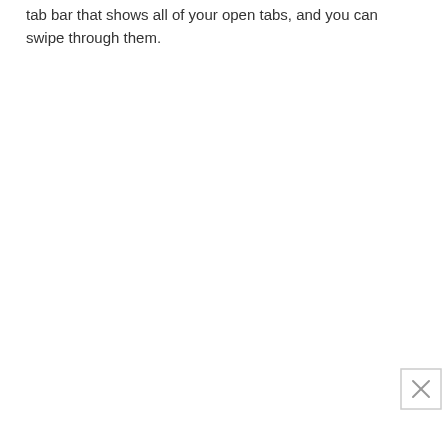tab bar that shows all of your open tabs, and you can swipe through them.
[Figure (other): Close button (X) in a small box, positioned at the bottom-right corner of the page]